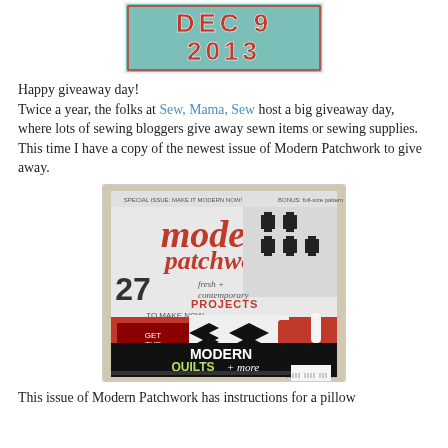[Figure (illustration): Banner image showing 'DEC 9 2013' text in retro/collegiate style lettering in red and teal colors]
Happy giveaway day!
Twice a year, the folks at Sew, Mama, Sew host a big giveaway day, where lots of sewing bloggers give away sewn items or sewing supplies. This time I have a copy of the newest issue of Modern Patchwork to give away.
[Figure (photo): Photo of the Modern Patchwork magazine cover showing '27 fresh + contemporary projects to make now', 'Get the Kits', 'MODERN QUILTS + more', with a chevron pillow and red chair on the cover, placed on a textured background]
This issue of Modern Patchwork has instructions for a pillow